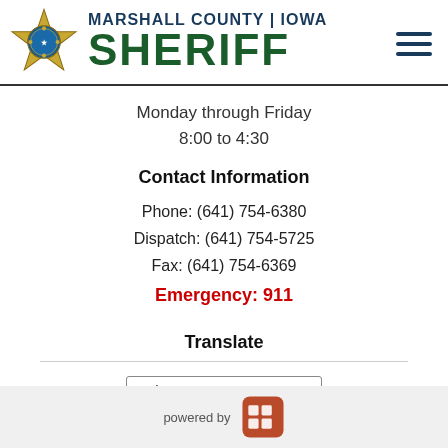MARSHALL COUNTY | IOWA SHERIFF
Monday through Friday
8:00 to 4:30
Contact Information
Phone: (641) 754-6380
Dispatch: (641) 754-5725
Fax: (641) 754-6369
Emergency: 911
Translate
Select Language
Powered by Google Translate
powered by [CivicPlus CMS logo]